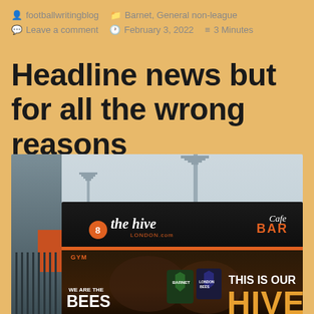footballwritingblog   Barnet, General non-league   Leave a comment   February 3, 2022   3 Minutes
Headline news but for all the wrong reasons
[Figure (photo): Exterior photo of The Hive London stadium, showing the black stand facade with orange stripe, Cafe Bar signage, The Hive London.com logo, 'WE ARE THE BEES' and 'THIS IS OUR HIVE' text on murals, floodlights visible above.]